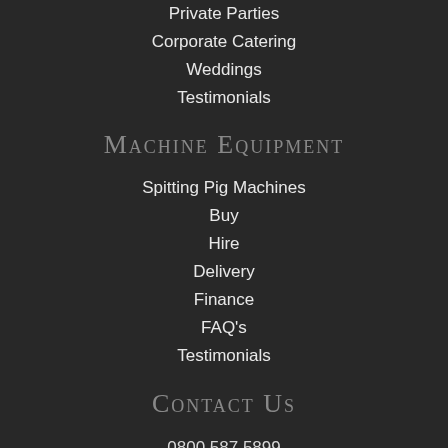Private Parties
Corporate Catering
Weddings
Testimonials
Machine Equipment
Spitting Pig Machines
Buy
Hire
Delivery
Finance
FAQ's
Testimonials
Contact Us
0800 587 5899
sales@spittingpig.co.uk